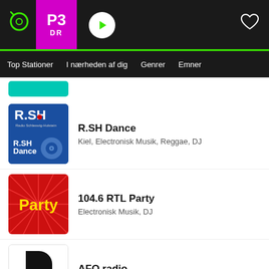P3 DR - Radio app header with play button and heart icon
Top Stationer  I nærheden af dig  Genrer  Emner
[Figure (screenshot): Partially visible teal station logo at top]
[Figure (logo): R.SH Dance radio station logo - blue background with R.SH text and dance disc graphic]
R.SH Dance
Kiel, Electronisk Musik, Reggae, DJ
[Figure (logo): 104.6 RTL Party logo - red background with yellow Party text and starburst]
104.6 RTL Party
Electronisk Musik, DJ
[Figure (logo): AFO radio logo - black and white with headphone and oforadio.com text]
AFO radio
Hits, Pop, DJ, Mode
[Figure (logo): AMW.FM partial logo at bottom]
AMW.FM - Amsterdams Most Wanted